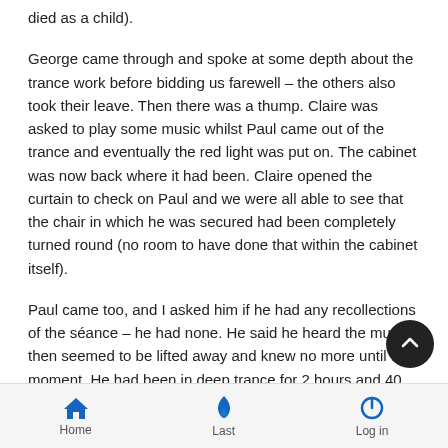died as a child).
George came through and spoke at some depth about the trance work before bidding us farewell – the others also took their leave. Then there was a thump. Claire was asked to play some music whilst Paul came out of the trance and eventually the red light was put on. The cabinet was now back where it had been. Claire opened the curtain to check on Paul and we were all able to see that the chair in which he was secured had been completely turned round (no room to have done that within the cabinet itself).
Paul came too, and I asked him if he had any recollections of the séance – he had none. He said he heard the music, then seemed to be lifted away and knew no more until that moment. He had been in deep trance for 2 hours and 40 minutes. (The longe Paul had ever been in trance)
Home   Last   Log in